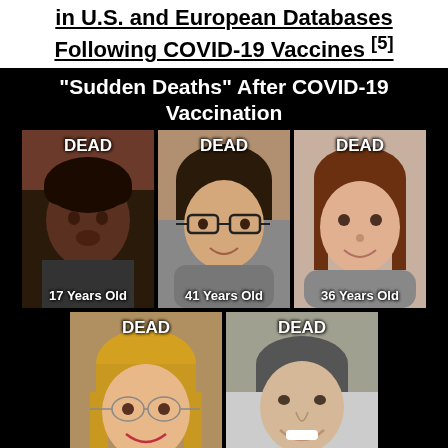in U.S. and European Databases Following COVID-19 Vaccines [5]
[Figure (infographic): Black background infographic titled 'Sudden Deaths After COVID-19 Vaccination' showing 5 people labeled DEAD with their ages or descriptions: 17 Years Old, 41 Years Old, 36 Years Old, 51 Years Old, Singer Composer]